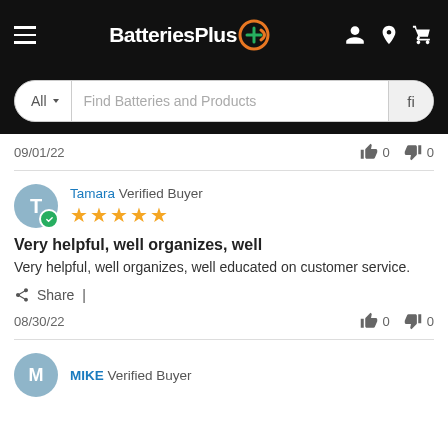[Figure (screenshot): BatteriesPlus website navigation bar with logo, hamburger menu, user icon, location pin icon, and cart icon on black background]
[Figure (screenshot): Search bar with 'All' dropdown and 'Find Batteries and Products' placeholder text]
09/01/22  👍 0  👎 0
Tamara Verified Buyer ★★★★★
Very helpful, well organizes, well
Very helpful, well organizes, well educated on customer service.
Share |
08/30/22  👍 0  👎 0
MIKE Verified Buyer